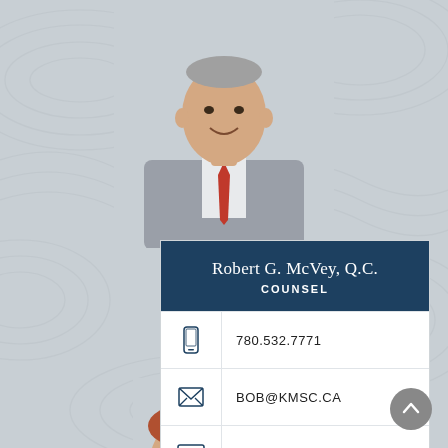[Figure (photo): Photo of Robert G. McVey, a middle-aged man in a gray suit with red tie, smiling, cropped to head and shoulders on a topographic-pattern gray background]
Robert G. McVey, Q.C.
COUNSEL
780.532.7771
BOB@KMSC.CA
V-CARD
SERVICES
[Figure (photo): Partial photo of a second person (woman with auburn hair), cropped at the bottom of the page]